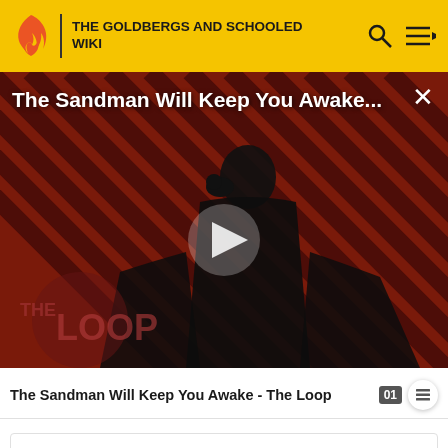THE GOLDBERGS AND SCHOOLED WIKI
[Figure (screenshot): Video player showing 'The Sandman Will Keep You Awake...' with a dark-cloaked figure against a red and black diagonal striped background. THE LOOP logo visible at bottom. Play button in center.]
The Sandman Will Keep You Awake - The Loop
The Goldbergs (season 2)
[Expand]